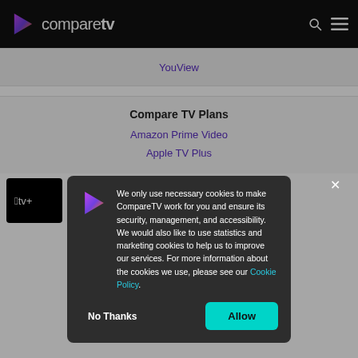compareTV
YouView
Compare TV Plans
Amazon Prime Video
Apple TV Plus
7-day free
Sky TV
We only use necessary cookies to make CompareTV work for you and ensure its security, management, and accessibility. We would also like to use statistics and marketing cookies to help us to improve our services. For more information about the cookies we use, please see our Cookie Policy.